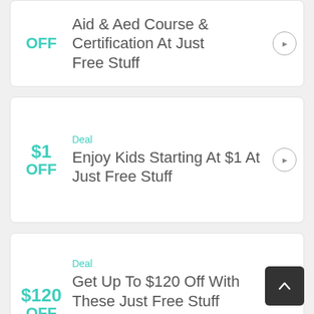OFF — Aid & Aed Course & Certification At Just Free Stuff
Deal — $1 OFF — Enjoy Kids Starting At $1 At Just Free Stuff
Deal — $120 OFF — Get Up To $120 Off With These Just Free Stuff Competitor Coupons For Coupons & Coupon Code S